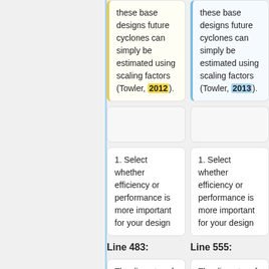these base designs future cyclones can simply be estimated using scaling factors (Towler, 2012).
these base designs future cyclones can simply be estimated using scaling factors (Towler, 2013).
1. Select whether efficiency or performance is more important for your design
1. Select whether efficiency or performance is more important for your design
Line 483:
Line 555:
The diameter of particles separated by cyclones are governed by this design equation. This equation is dependent upon
The diameter of particles separated by cyclones are governed by this design equation. This equation is dependent upon